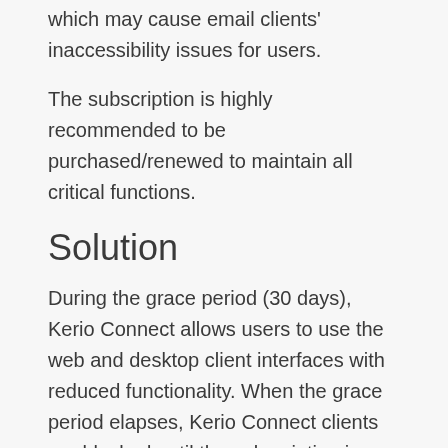which may cause email clients' inaccessibility issues for users.
The subscription is highly recommended to be purchased/renewed to maintain all critical functions.
Solution
During the grace period (30 days), Kerio Connect allows users to use the web and desktop client interfaces with reduced functionality. When the grace period elapses, Kerio Connect clients are blocked until the subscription is renewed. The following functions and operations